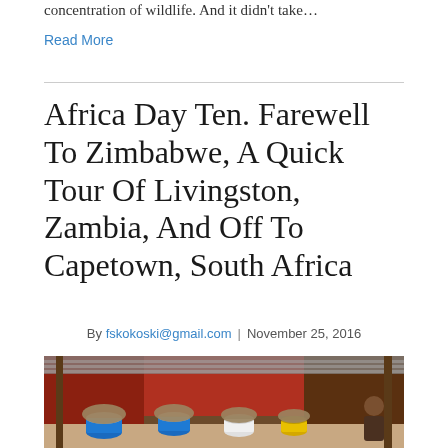concentration of wildlife. And it didn't take…
Read More
Africa Day Ten. Farewell To Zimbabwe, A Quick Tour Of Livingston, Zambia, And Off To Capetown, South Africa
By fskokoski@gmail.com | November 25, 2016
[Figure (photo): A market scene with colourful plastic buckets filled with dried goods and a person visible on the right side, under a corrugated metal roof with red walls in the background.]